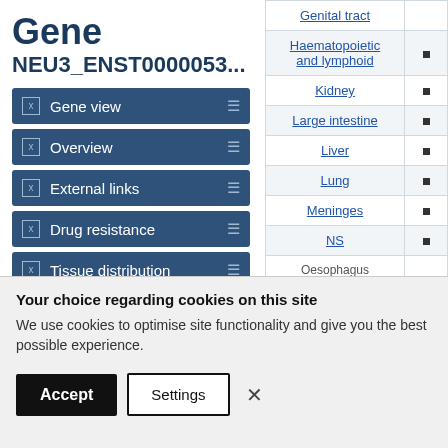Gene
NEU3_ENST0000053...
Gene view
Overview
External links
Drug resistance
Tissue distribution
Genome browser
Mutation distribution
| Tissue |  |
| --- | --- |
| Genital tract |  |
| Haematopoietic and lymphoid | • |
| Kidney | • |
| Large intestine | • |
| Liver | • |
| Lung | • |
| Meninges | • |
| NS | • |
| Oesophagus | • |
Your choice regarding cookies on this site
We use cookies to optimise site functionality and give you the best possible experience.